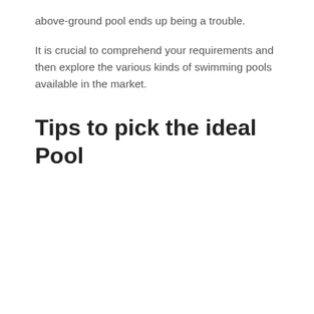above-ground pool ends up being a trouble.
It is crucial to comprehend your requirements and then explore the various kinds of swimming pools available in the market.
Tips to pick the ideal Pool